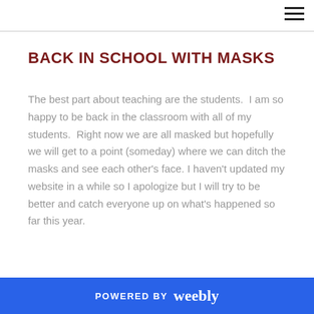BACK IN SCHOOL WITH MASKS
The best part about teaching are the students.  I am so happy to be back in the classroom with all of my students.  Right now we are all masked but hopefully we will get to a point (someday) where we can ditch the masks and see each other's face. I haven't updated my website in a while so I apologize but I will try to be better and catch everyone up on what's happened so far this year.
POWERED BY weebly